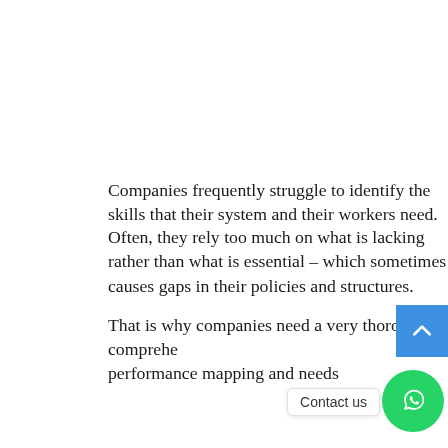Companies frequently struggle to identify the skills that their system and their workers need. Often, they rely too much on what is lacking rather than what is essential – which sometimes causes gaps in their policies and structures.
That is why companies need a very thorough and comprehe[nsive] performance mapping and needs